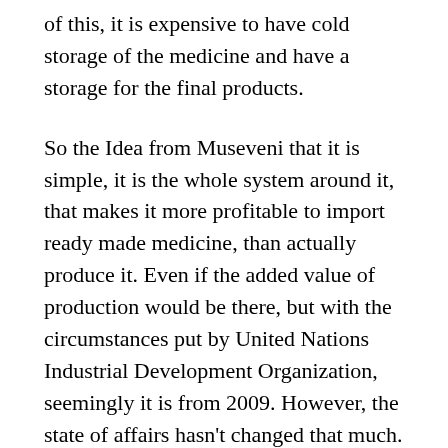of this, it is expensive to have cold storage of the medicine and have a storage for the final products.
So the Idea from Museveni that it is simple, it is the whole system around it, that makes it more profitable to import ready made medicine, than actually produce it. Even if the added value of production would be there, but with the circumstances put by United Nations Industrial Development Organization, seemingly it is from 2009. However, the state of affairs hasn't changed that much.
We can really estimate, that the adjustment